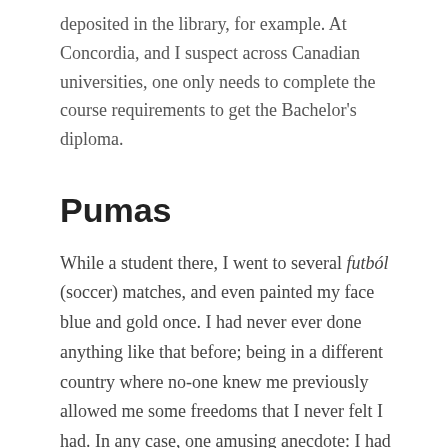deposited in the library, for example. At Concordia, and I suspect across Canadian universities, one only needs to complete the course requirements to get the Bachelor's diploma.
Pumas
While a student there, I went to several futból (soccer) matches, and even painted my face blue and gold once. I had never ever done anything like that before; being in a different country where no-one knew me previously allowed me some freedoms that I never felt I had. In any case, one amusing anecdote: I had a hard plastic water bottle that I carried around with me everywhere. When I tried to go to a match once, the security guards who searched my bag didn't want to let